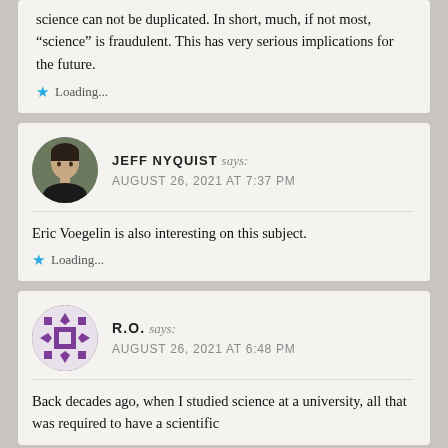science can not be duplicated. In short, much, if not most, “science” is fraudulent. This has very serious implications for the future.
Loading...
JEFF NYQUIST says: AUGUST 26, 2021 AT 7:37 PM
Eric Voegelin is also interesting on this subject.
Loading...
R.O. says: AUGUST 26, 2021 AT 6:48 PM
Back decades ago, when I studied science at a university, all that was required to have a scientific